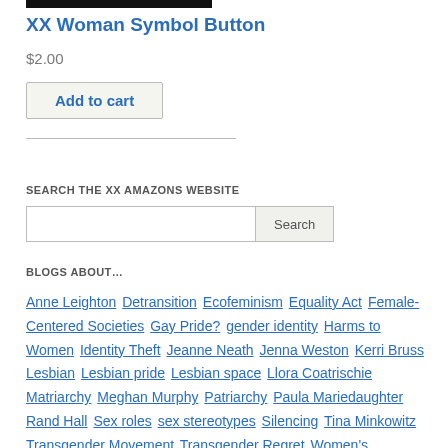[Figure (other): Black bar/image at top of page]
XX Woman Symbol Button
$2.00
Add to cart
SEARCH THE XX AMAZONS WEBSITE
Search input and button
BLOGS ABOUT…
Anne Leighton Detransition Ecofeminism Equality Act Female-Centered Societies Gay Pride? gender identity Harms to Women Identity Theft Jeanne Neath Jenna Weston Kerri Bruss Lesbian Lesbian pride Lesbian space Llora Coatrischie Matriarchy Meghan Murphy Patriarchy Paula Mariedaughter Rand Hall Sex roles sex stereotypes Silencing Tina Minkowitz Transgender Movement Transgender Regret Women's Liberation Movement Women-only space Womonwrites Woody Blue